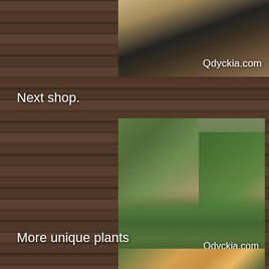[Figure (photo): Top photo showing dark pottery/plants on wooden surface with Qdyckia.com watermark]
Next shop.
[Figure (photo): Photo of succulents and plants in a tray at a shop, with Qdyckia.com watermark]
More unique plants
[Figure (photo): Bottom photo showing people handling plants at a market or shop]